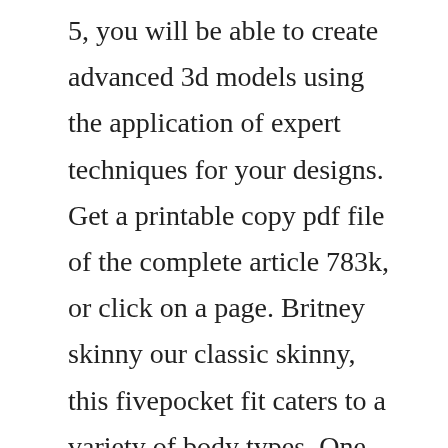5, you will be able to create advanced 3d models using the application of expert techniques for your designs. Get a printable copy pdf file of the complete article 783k, or click on a page. Britney skinny our classic skinny, this fivepocket fit caters to a variety of body types. One of the first trainees, rob cowart, was diagnosed with cancer, and was medically retired from active duty, terminating his training after only a few months. I am looking for infospecs on a 94 rhino 344 tractor i recently purchased. Manual for introductory training on inclusive green